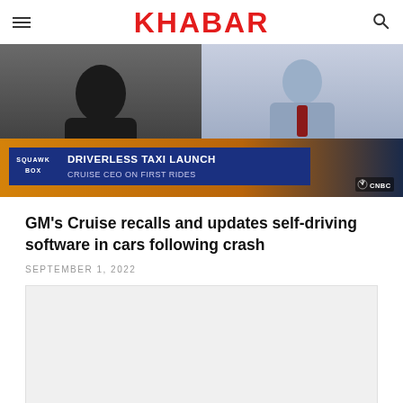KHABAR
[Figure (screenshot): CNBC Squawk Box screenshot showing two people in a split-screen interview. Lower third reads: SQUAWK BOX | DRIVERLESS TAXI LAUNCH | CRUISE CEO ON FIRST RIDES. CNBC logo visible bottom right.]
GM's Cruise recalls and updates self-driving software in cars following crash
SEPTEMBER 1, 2022